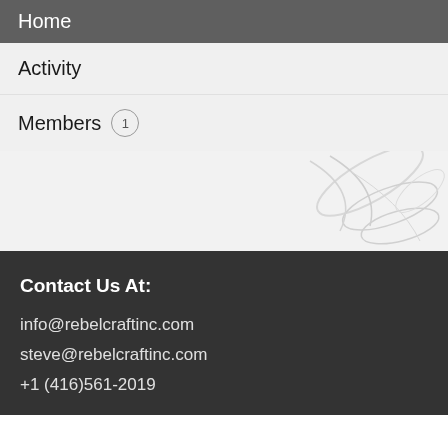Home
Activity
Members 1
[Figure (illustration): Faint watermark illustration of floral/leaf motifs on a light grey background]
Contact Us At:
info@rebelcraftinc.com
steve@rebelcraftinc.com
+1 (416)561-2019